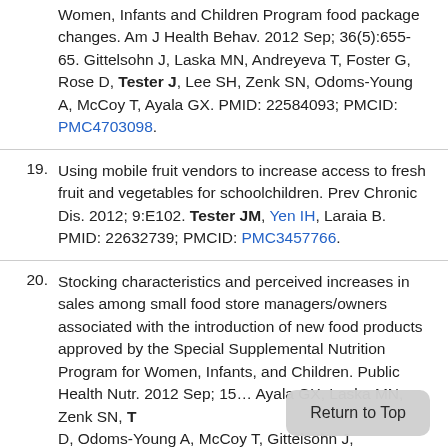Women, Infants and Children Program food package changes. Am J Health Behav. 2012 Sep; 36(5):655-65. Gittelsohn J, Laska MN, Andreyeva T, Foster G, Rose D, Tester J, Lee SH, Zenk SN, Odoms-Young A, McCoy T, Ayala GX. PMID: 22584093; PMCID: PMC4703098.
19. Using mobile fruit vendors to increase access to fresh fruit and vegetables for schoolchildren. Prev Chronic Dis. 2012; 9:E102. Tester JM, Yen IH, Laraia B. PMID: 22632739; PMCID: PMC3457766.
20. Stocking characteristics and perceived increases in sales among small food store managers/owners associated with the introduction of new food products approved by the Special Supplemental Nutrition Program for Women, Infants, and Children. Public Health Nutr. 2012 Sep; 15... Ayala GX, Laska MN, Zenk SN, T... D, Odoms-Young A, McCoy T, Gittelsohn J,